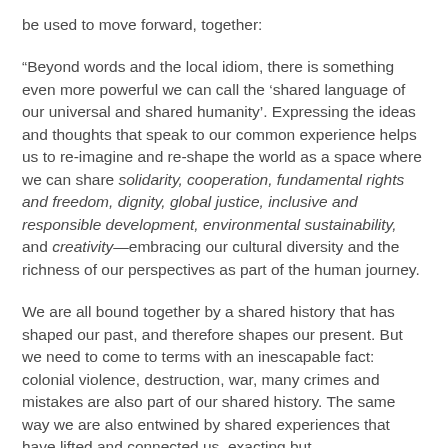be used to move forward, together:
“Beyond words and the local idiom, there is something even more powerful we can call the ‘shared language of our universal and shared humanity’. Expressing the ideas and thoughts that speak to our common experience helps us to re-imagine and re-shape the world as a space where we can share solidarity, cooperation, fundamental rights and freedom, dignity, global justice, inclusive and responsible development, environmental sustainability, and creativity—embracing our cultural diversity and the richness of our perspectives as part of the human journey.
We are all bound together by a shared history that has shaped our past, and therefore shapes our present. But we need to come to terms with an inescapable fact: colonial violence, destruction, war, many crimes and mistakes are also part of our shared history. The same way we are also entwined by shared experiences that have lifted and connected us, exacting but